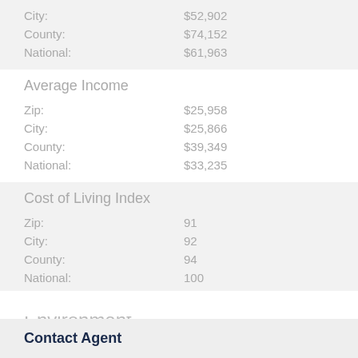|  |  |
| --- | --- |
| City: | $52,902 |
| County: | $74,152 |
| National: | $61,963 |
Average Income
|  |  |
| --- | --- |
| Zip: | $25,958 |
| City: | $25,866 |
| County: | $39,349 |
| National: | $33,235 |
Cost of Living Index
|  |  |
| --- | --- |
| Zip: | 91 |
| City: | 92 |
| County: | 94 |
| National: | 100 |
Environment
January Avg. Low Temp
Zip: 39.4
Contact Agent